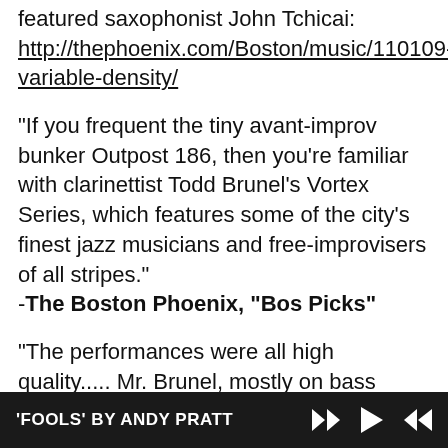featured saxophonist John Tchicai: http://thephoenix.com/Boston/music/110109-variable-density/
"If you frequent the tiny avant-improv bunker Outpost 186, then you're familiar with clarinettist Todd Brunel's Vortex Series, which features some of the city's finest jazz musicians and free-improvisers of all stripes."
-The Boston Phoenix, "Bos Picks"
"The performances were all high quality..... Mr. Brunel, mostly on bass clarinet treated, to quote Judith Weir, as “a hysterical treble instrument with a surprise bass extension,” exhibited sure command of all his extended and unextended
'FOOLS' BY ANDY PRATT